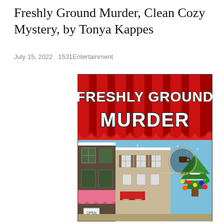Freshly Ground Murder, Clean Cozy Mystery, by Tonya Kappes
July 15, 2022   1531Entertainment
[Figure (illustration): Book cover for 'Freshly Ground Murder' — A Killer Coffee Mystery. Red and white striped awning at top with white bubble-letter title text 'FRESHLY GROUND MURDER'. Below shows a snowy winter street scene with storefronts, a Christmas tree with ornaments on the right, snow falling, and a coffee cup logo badge on the right side reading 'A Killer Coffee Mystery'. A pink awning shop on the left has an 'OPEN' sign.]